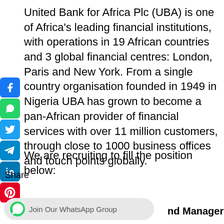United Bank for Africa Plc (UBA) is one of Africa's leading financial institutions, with operations in 19 African countries and 3 global financial centres: London, Paris and New York. From a single country organisation founded in 1949 in Nigeria UBA has grown to become a pan-African provider of financial services with over 11 million customers, through close to 1000 business offices and touch points globally.
We are recruiting to fill the position below:
Share
nd Manager